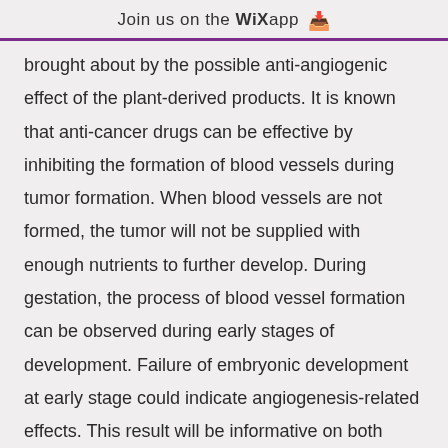Join us on the WiX app ↓
brought about by the possible anti-angiogenic effect of the plant-derived products. It is known that anti-cancer drugs can be effective by inhibiting the formation of blood vessels during tumor formation. When blood vessels are not formed, the tumor will not be supplied with enough nutrients to further develop. During gestation, the process of blood vessel formation can be observed during early stages of development. Failure of embryonic development at early stage could indicate angiogenesis-related effects. This result will be informative on both development and cancer biology.